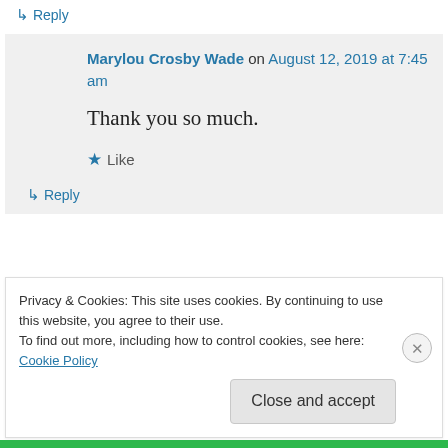↳ Reply
Marylou Crosby Wade on August 12, 2019 at 7:45 am
Thank you so much.
★ Like
↳ Reply
Privacy & Cookies: This site uses cookies. By continuing to use this website, you agree to their use.
To find out more, including how to control cookies, see here: Cookie Policy
Close and accept